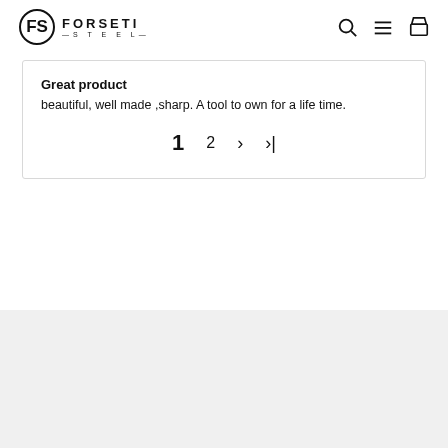FORSETI STEEL
Great product
beautiful, well made ,sharp. A tool to own for a life time.
1  2  >  >|